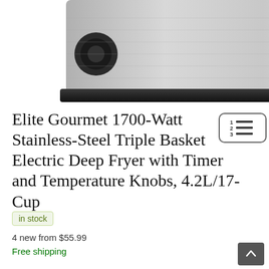[Figure (photo): Product photo of Elite Gourmet stainless steel deep fryer, partially cropped, showing the top and side of the appliance with a black knob and the Elite Gourmet logo visible]
Elite Gourmet 1700-Watt Stainless-Steel Triple Basket Electric Deep Fryer with Timer and Temperature Knobs, 4.2L/17-Cup
in stock
4 new from $55.99
Free shipping